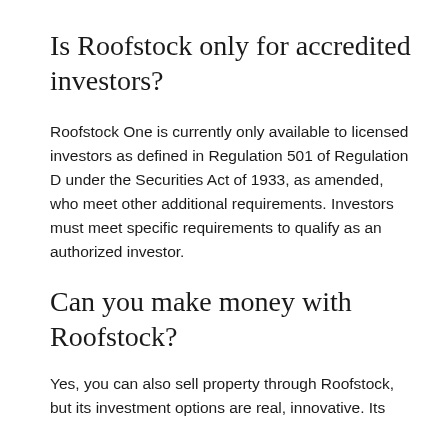Is Roofstock only for accredited investors?
Roofstock One is currently only available to licensed investors as defined in Regulation 501 of Regulation D under the Securities Act of 1933, as amended, who meet other additional requirements. Investors must meet specific requirements to qualify as an authorized investor.
Can you make money with Roofstock?
Yes, you can also sell property through Roofstock, but its investment options are real, innovative. Its